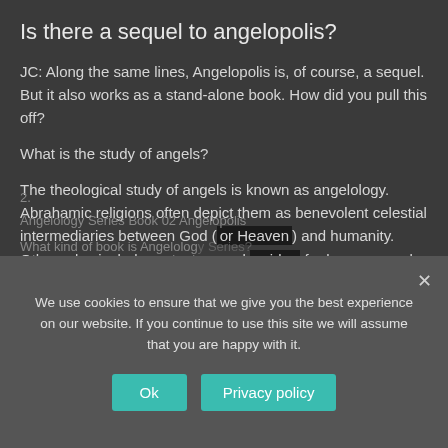Is there a sequel to angelopolis?
JC: Along the same lines, Angelopolis is, of course, a sequel. But it also works as a stand-alone book. How did you pull this off?
What is the study of angels?
The theological study of angels is known as angelology. Abrahamic religions often depict them as benevolent celestial intermediaries between God (or Heaven) and humanity. Other roles include protectors and guides for humans, and servants of God.
How many books are in the Angelology Series?
Angelology Series Book 02 Angelopolis
What kind of book is Angelology Series?
We use cookies to ensure that we give you the best experience on our website. If you continue to use this site we will assume that you are happy with it.